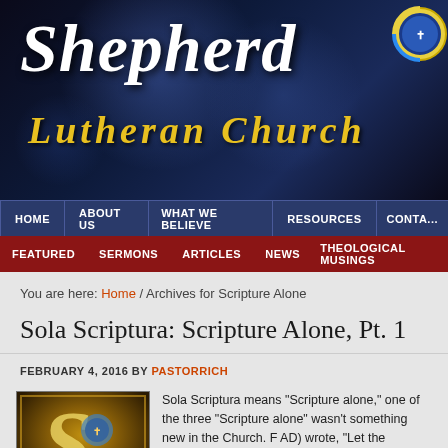[Figure (screenshot): Shepherd Lutheran Church website header with gothic 'Shepherd' text in white and 'Lutheran Church' in yellow/gold on dark blue background, with circular logo on right]
HOME | ABOUT US | WHAT WE BELIEVE | RESOURCES | CONTA...
FEATURED | SERMONS | ARTICLES | NEWS | THEOLOGICAL MUSINGS
You are here: Home / Archives for Scripture Alone
Sola Scriptura: Scripture Alone, Pt. 1
FEBRUARY 4, 2016 BY PASTORRICH
[Figure (illustration): Decorative illuminated manuscript style image showing stylized 'S' with text SOLA SCRIPTURA at bottom]
Sola Scriptura means “Scripture alone,” one of the three “Scripture alone” wasn’t something new in the Church. F AD) wrote, “Let the inspired Scriptures then be our umpi those whose dogmas are found to […]